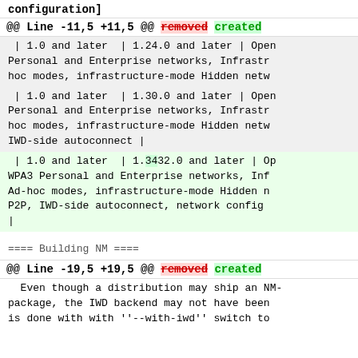configuration]
@@ Line -11,5 +11,5 @@ removed created
| 1.0 and later  | 1.24.0 and later | Open Personal and Enterprise networks, Infrastr hoc modes, infrastructure-mode Hidden netw
| 1.0 and later  | 1.30.0 and later | Open Personal and Enterprise networks, Infrastr hoc modes, infrastructure-mode Hidden netw IWD-side autoconnect |
| 1.0 and later  | 1.3432.0 and later | Op WPA3 Personal and Enterprise networks, Inf Ad-hoc modes, infrastructure-mode Hidden n P2P, IWD-side autoconnect, network config |
==== Building NM ====
@@ Line -19,5 +19,5 @@ removed created
Even though a distribution may ship an NM-package, the IWD backend may not have been is done with with ''--with-iwd'' switch to